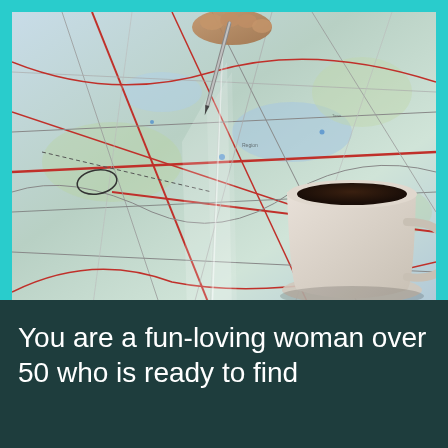[Figure (photo): Close-up photo of a person's hand holding a pen pointing at a detailed road map, with a white coffee cup filled with dark coffee visible in the bottom right corner]
You are a fun-loving woman over 50 who is ready to find